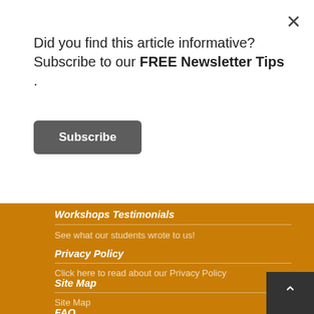Did you find this article informative? Subscribe to our FREE Newsletter Tips .
Subscribe
Workshops Testimonials
See what our students wrote to us!
Privacy Policy
Click here to read about our Privacy Policy
Site Map
Site Map
FAQ
FAQ